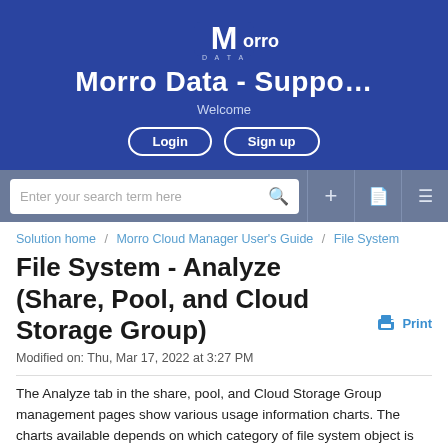Morro Data - Suppo...
Welcome
Login  Sign up
Enter your search term here
Solution home / Morro Cloud Manager User's Guide / File System
File System - Analyze (Share, Pool, and Cloud Storage Group)
Modified on: Thu, Mar 17, 2022 at 3:27 PM
The Analyze tab in the share, pool, and Cloud Storage Group management pages show various usage information charts.  The charts available depends on which category of file system object is selected.